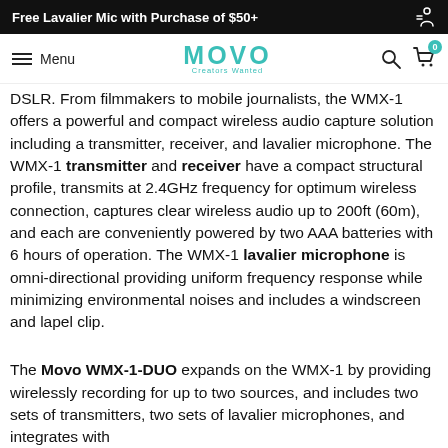Free Lavalier Mic with Purchase of $50+
MOVO Creators Wanted — Menu, Search, Cart (0)
DSLR. From filmmakers to mobile journalists, the WMX-1 offers a powerful and compact wireless audio capture solution including a transmitter, receiver, and lavalier microphone. The WMX-1 transmitter and receiver have a compact structural profile, transmits at 2.4GHz frequency for optimum wireless connection, captures clear wireless audio up to 200ft (60m), and each are conveniently powered by two AAA batteries with 6 hours of operation. The WMX-1 lavalier microphone is omni-directional providing uniform frequency response while minimizing environmental noises and includes a windscreen and lapel clip.
The Movo WMX-1-DUO expands on the WMX-1 by providing wirelessly recording for up to two sources, and includes two sets of transmitters, two sets of lavalier microphones, and integrates with